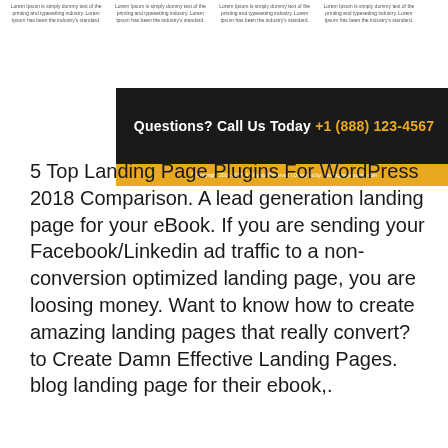Lorem Ipsum is simply dummy text of the printing and typesetting industry. Lorem Ipsum has been the industry's standard. Lorem Ipsum is simply dummy text of the printing and typesetting industry. Lorem Ipsum has been the industry's standard. Lorem Ipsum is simply dummy text of the printing and typesetting industry. Lorem Ipsum has been the industry's standard. Lorem Ipsum is simply dummy text of the printing and typesetting industry. Lorem Ipsum has been the industry's standard.
[Figure (infographic): Black banner with text 'Questions? Call Us Today +1 (888) 123-4567' followed by a gold/yellow strip with copyright text]
5 Top Landing Page Plugins For WordPress 2018 Comparison. A lead generation landing page for your eBook. If you are sending your Facebook/Linkedin ad traffic to a non-conversion optimized landing page, you are loosing money. Want to know how to create amazing landing pages that really convert? to Create Damn Effective Landing Pages. blog landing page for their ebook,.